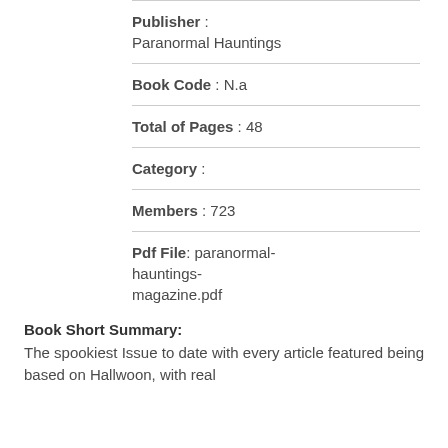Publisher : Paranormal Hauntings
Book Code : N.a
Total of Pages : 48
Category :
Members : 723
Pdf File: paranormal-hauntings-magazine.pdf
Book Short Summary:
The spookiest Issue to date with every article featured being based on Hallwoon, with real